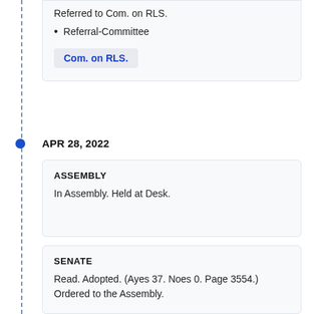Referred to Com. on RLS.
Referral-Committee
Com. on RLS.
APR 28, 2022
ASSEMBLY
In Assembly. Held at Desk.
SENATE
Read. Adopted. (Ayes 37. Noes 0. Page 3554.) Ordered to the Assembly.